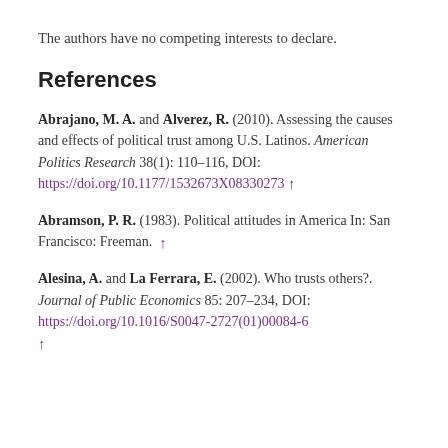The authors have no competing interests to declare.
References
Abrajano, M. A. and Alverez, R. (2010). Assessing the causes and effects of political trust among U.S. Latinos. American Politics Research 38(1): 110–116, DOI: https://doi.org/10.1177/1532673X08330273 ↑
Abramson, P. R. (1983). Political attitudes in America In: San Francisco: Freeman. ↑
Alesina, A. and La Ferrara, E. (2002). Who trusts others?. Journal of Public Economics 85: 207–234, DOI: https://doi.org/10.1016/S0047-2727(01)00084-6 ↑